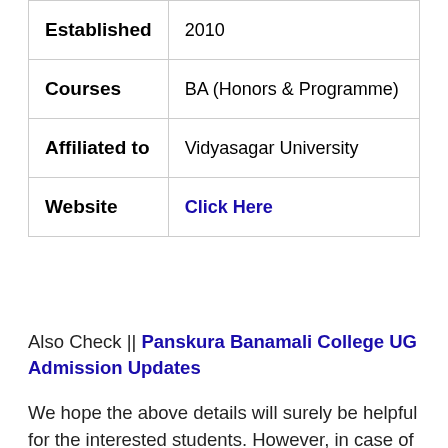| Established | 2010 |
| Courses | BA (Honors & Programme) |
| Affiliated to | Vidyasagar University |
| Website | Click Here |
Also Check || Panskura Banamali College UG Admission Updates
We hope the above details will surely be helpful for the interested students. However, in case of